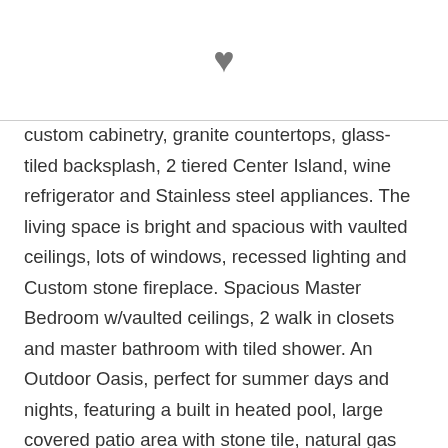♥
custom cabinetry, granite countertops, glass-tiled backsplash, 2 tiered Center Island, wine refrigerator and Stainless steel appliances. The living space is bright and spacious with vaulted ceilings, lots of windows, recessed lighting and Custom stone fireplace. Spacious Master Bedroom w/vaulted ceilings, 2 walk in closets and master bathroom with tiled shower. An Outdoor Oasis, perfect for summer days and nights, featuring a built in heated pool, large covered patio area with stone tile, natural gas line for the grill, fenced yard and a hot/cold enclosed outside shower. Extra features: security system, detached garage w/sauna and gym equipment, sprinkler system, carpet in